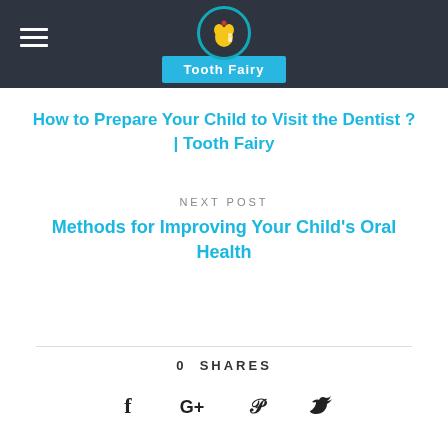[Figure (logo): Tooth Fairy logo with yellow tooth icon in a circle above a blue badge reading 'Tooth Fairy']
How to Prepare Your Child to Visit the Dentist ? | Tooth Fairy
NEXT POST
Methods for Improving Your Child's Oral Health
0 SHARES
[Figure (infographic): Social sharing icons: Facebook (f), Google+ (G+), Pinterest (P), Twitter bird]